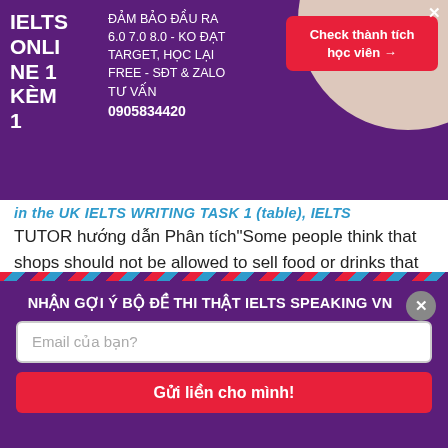[Figure (infographic): Purple IELTS Online advertisement banner with text: IELTS ONLINE 1 KÈM 1, ĐẢM BẢO ĐẦU RA 6.0 7.0 8.0 - KO ĐẠT TARGET, HỌC LẠI FREE - SĐT & ZALO TƯ VẤN 0905834420. Red button: Check thành tích học viên →]
in the UK IELTS WRITING TASK 1 (table), IELTS TUTOR hướng dẫn Phân tích"Some people think that shops should not be allowed to sell food or drinks that are scientifically proven to be bad for people's health. Do you agree or disagree?"IELTS WRITING TASK 2
NHẬN GỢI Ý BỘ ĐỀ THI THẬT IELTS SPEAKING VN
Email của bạn?
Gửi liền cho mình!